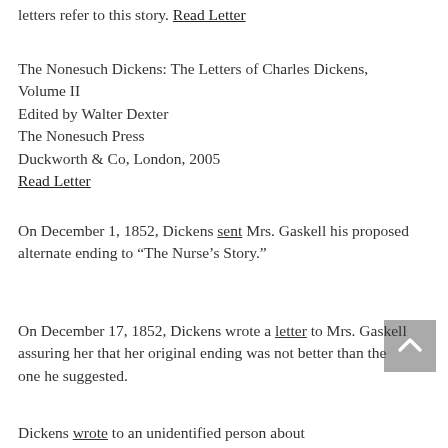letters refer to this story. Read Letter
The Nonesuch Dickens: The Letters of Charles Dickens, Volume II
Edited by Walter Dexter
The Nonesuch Press
Duckworth & Co, London, 2005
Read Letter
On December 1, 1852, Dickens sent Mrs. Gaskell his proposed alternate ending to “The Nurse’s Story.”
On December 17, 1852, Dickens wrote a letter to Mrs. Gaskell assuring her that her original ending was not better than the one he suggested.
Dickens wrote to an unidentified person about